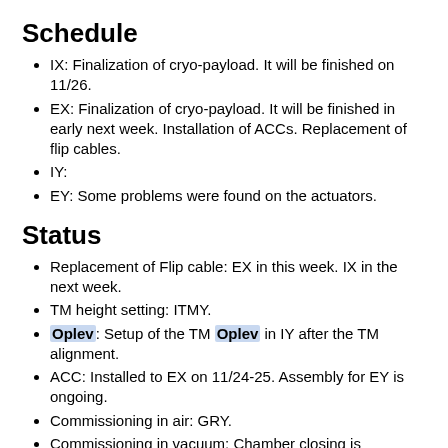Schedule
IX: Finalization of cryo-payload. It will be finished on 11/26.
EX: Finalization of cryo-payload. It will be finished in early next week. Installation of ACCs. Replacement of flip cables.
IY:
EY: Some problems were found on the actuators.
Status
Replacement of Flip cable: EX in this week. IX in the next week.
TM height setting: ITMY.
Oplev: Setup of the TM Oplev in IY after the TM alignment.
ACC: Installed to EX on 11/24-25. Assembly for EY is ongoing.
Commissioning in air: GRY.
Commissioning in vacuum: Chamber closing is scheduled from 12/13.
Overall commissioning:
Acceptance check: